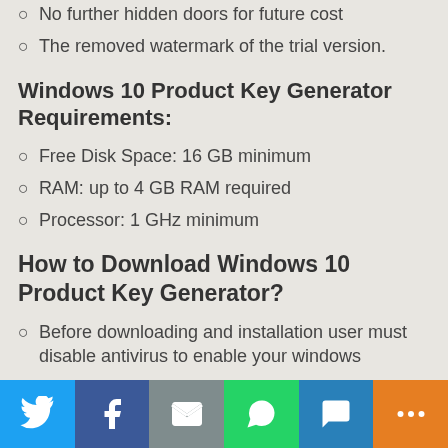No further hidden doors for future cost
The removed watermark of the trial version.
Windows 10 Product Key Generator Requirements:
Free Disk Space: 16 GB minimum
RAM: up to 4 GB RAM required
Processor: 1 GHz minimum
How to Download Windows 10 Product Key Generator?
Before downloading and installation user must disable antivirus to enable your windows
Download the complete file from the given link with ISO file